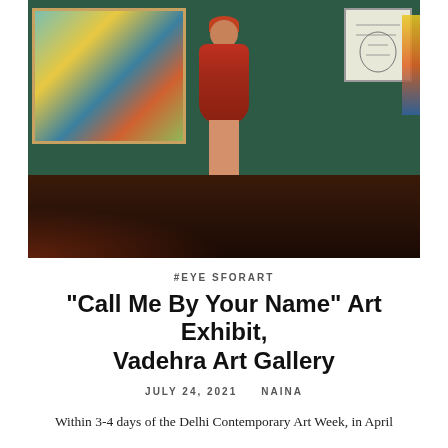[Figure (photo): A woman in a red printed dress with orange/red hair standing in a dark green-walled art gallery. A large colorful painting is visible on the left wall, a smaller sketch artwork on the upper right wall. The gallery floor is dark with a reddish glow on one side.]
#EYESFORART
“Call Me By Your Name” Art Exhibit, Vadehra Art Gallery
JULY 24, 2021    NAINA
Within 3-4 days of the Delhi Contemporary Art Week, in April